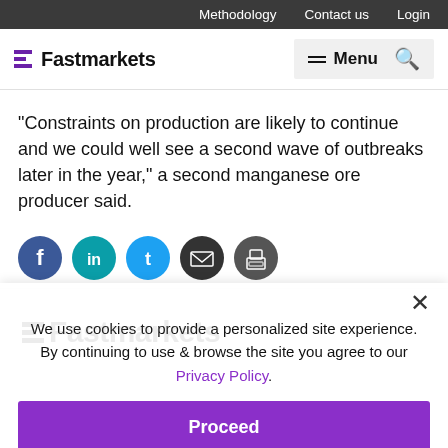Methodology  Contact us  Login
[Figure (logo): Fastmarkets logo with purple bar icon and bold text 'Fastmarkets', plus hamburger Menu icon and search icon on the right]
“Constraints on production are likely to continue and we could well see a second wave of outbreaks later in the year,” a second manganese ore producer said.
[Figure (other): Social share icons: Facebook (blue circle with f), LinkedIn (teal circle with in), Twitter (light blue circle with bird), Email (dark circle with envelope), Print (dark circle with printer)]
We use cookies to provide a personalized site experience.
By continuing to use & browse the site you agree to our Privacy Policy.
Proceed
price reporting agency (PRA) in the agriculture, forest